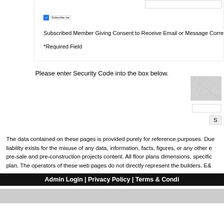[Figure (screenshot): Blue checked checkbox input]
Subscribe me
Subscribed Member Giving Consent to Receive Email or Message Corre
*Required Field
Please enter Security Code into the box below.
[Figure (screenshot): CAPTCHA image with noise pattern]
[Figure (screenshot): Security code input box]
[Figure (screenshot): Submit button labeled S]
The data contained on these pages is provided purely for reference purposes. Due liability exists for the misuse of any data, information, facts, figures, or any other e pre-sale and pre-construction projects content. All floor plans dimensions, specific plan. The operators of these web pages do not directly represent the builders. E&
Admin Login | Privacy Policy | Terms & Condi